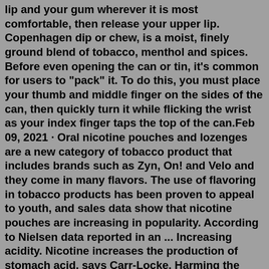lip and your gum wherever it is most comfortable, then release your upper lip. Copenhagen dip or chew, is a moist, finely ground blend of tobacco, menthol and spices. Before even opening the can or tin, it's common for users to "pack" it. To do this, you must place your thumb and middle finger on the sides of the can, then quickly turn it while flicking the wrist as your index finger taps the top of the can.Feb 09, 2021 · Oral nicotine pouches and lozenges are a new category of tobacco product that includes brands such as Zyn, On! and Velo and they come in many flavors. The use of flavoring in tobacco products has been proven to appeal to youth, and sales data show that nicotine pouches are increasing in popularity. According to Nielsen data reported in an ... Increasing acidity. Nicotine increases the production of stomach acid, says Carr-Locke. Harming the esophagus. Tobacco smoke seems to directly irritate the esophagus lining, says Cheskin. Reducing saliva production. This causes two problems. When you swallow, saliva helps push acid down, out of the